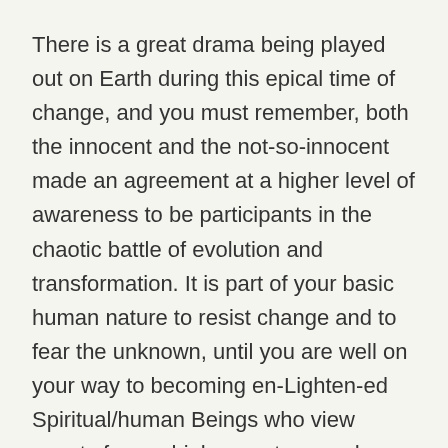There is a great drama being played out on Earth during this epical time of change, and you must remember, both the innocent and the not-so-innocent made an agreement at a higher level of awareness to be participants in the chaotic battle of evolution and transformation. It is part of your basic human nature to resist change and to fear the unknown, until you are well on your way to becoming en-Lighten-ed Spiritual/human Beings who view events from a higher vantage and a non-judgmental point of view.
To help ease your suffering and sorrow at the loss of your beloved ones, please know that they are in vibrant good health and more alive than ever. They are basking in the limelight of love and devotion of their Soul families and many wondrous angels and